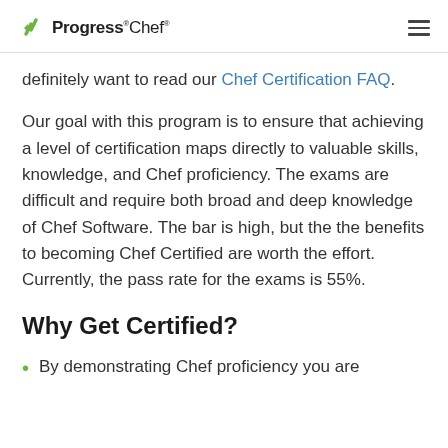Progress Chef
definitely want to read our Chef Certification FAQ.
Our goal with this program is to ensure that achieving a level of certification maps directly to valuable skills, knowledge, and Chef proficiency. The exams are difficult and require both broad and deep knowledge of Chef Software. The bar is high, but the the benefits to becoming Chef Certified are worth the effort. Currently, the pass rate for the exams is 55%.
Why Get Certified?
By demonstrating Chef proficiency you are